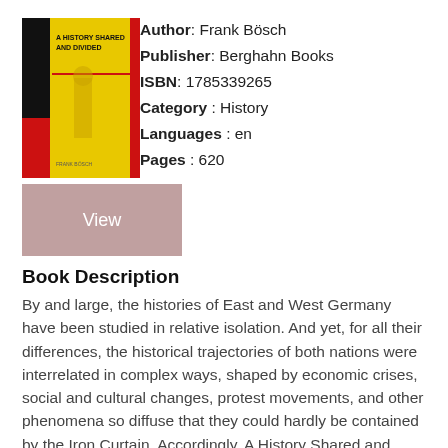[Figure (photo): Book cover of 'A History Shared and Divided' by Frank Bösch, featuring a yellow, red, and black design]
Author: Frank Bösch
Publisher: Berghahn Books
ISBN: 1785339265
Category: History
Languages: en
Pages: 620
View
Book Description
By and large, the histories of East and West Germany have been studied in relative isolation. And yet, for all their differences, the historical trajectories of both nations were interrelated in complex ways, shaped by economic crises, social and cultural changes, protest movements, and other phenomena so diffuse that they could hardly be contained by the Iron Curtain. Accordingly, A History Shared and Divided offers a collective portrait of the two Germanies that is both